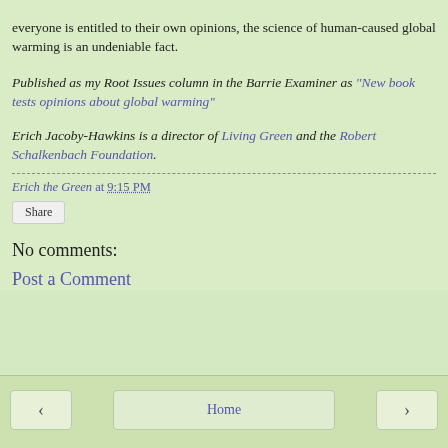everyone is entitled to their own opinions, the science of human-caused global warming is an undeniable fact.
Published as my Root Issues column in the Barrie Examiner as "New book tests opinions about global warming"
Erich Jacoby-Hawkins is a director of Living Green and the Robert Schalkenbach Foundation.
Erich the Green at 9:15 PM
Share
No comments:
Post a Comment
< Home >